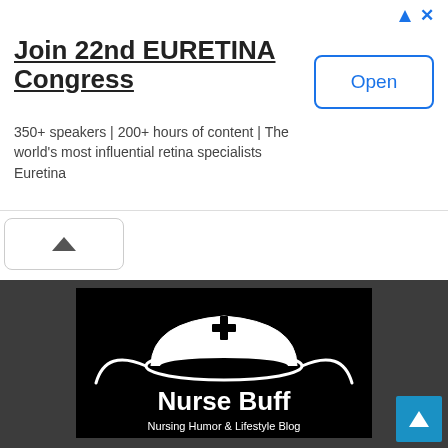[Figure (screenshot): Ad banner: Join 22nd EURETINA Congress with Open button, triangle and X close icons]
Join 22nd EURETINA Congress
350+ speakers | 200+ hours of content | The world's most influential retina specialists Euretina
[Figure (screenshot): Collapse/chevron up button below the ad banner]
- Advertisement -
[Figure (logo): Nurse Buff logo — black background with nurse hat graphic showing a cross, text 'Nurse Buff' and 'Nursing Humor & Lifestyle Blog' in white]